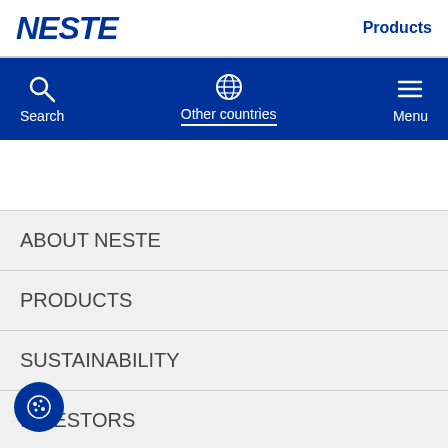NESTE | Products
[Figure (screenshot): Neste website navigation bar with Search, Other countries, and Menu icons on blue background]
ABOUT NESTE
PRODUCTS
SUSTAINABILITY
INVESTORS